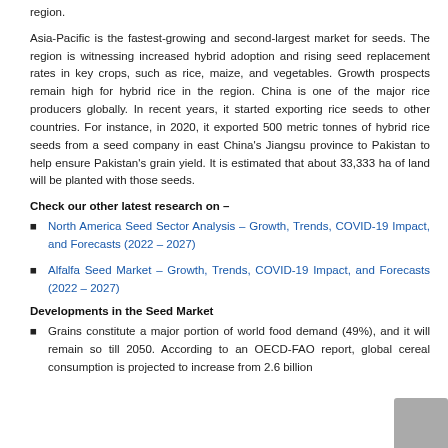region.
Asia-Pacific is the fastest-growing and second-largest market for seeds. The region is witnessing increased hybrid adoption and rising seed replacement rates in key crops, such as rice, maize, and vegetables. Growth prospects remain high for hybrid rice in the region. China is one of the major rice producers globally. In recent years, it started exporting rice seeds to other countries. For instance, in 2020, it exported 500 metric tonnes of hybrid rice seeds from a seed company in east China's Jiangsu province to Pakistan to help ensure Pakistan's grain yield. It is estimated that about 33,333 ha of land will be planted with those seeds.
Check our other latest research on –
North America Seed Sector Analysis – Growth, Trends, COVID-19 Impact, and Forecasts (2022 – 2027)
Alfalfa Seed Market – Growth, Trends, COVID-19 Impact, and Forecasts (2022 – 2027)
Developments in the Seed Market
Grains constitute a major portion of world food demand (49%), and it will remain so till 2050. According to an OECD-FAO report, global cereal consumption is projected to increase from 2.6 billion